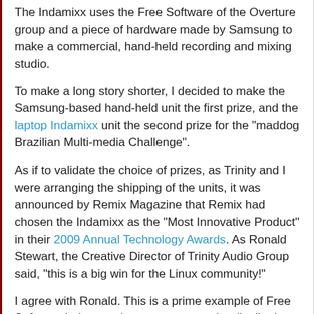The Indamixx uses the Free Software of theOverture group and a piece of hardware made by Samsung to make a commercial, hand-held recording and mixing studio.
To make a long story shorter, I decided to make the Samsung-based hand-held unit the first prize, and the laptop Indamixx unit the second prize for the "maddog Brazilian Multi-media Challenge".
As if to validate the choice of prizes, as Trinity and I were arranging the shipping of the units, it was announced by Remix Magazine that Remix had chosen the Indamixx as the "Most Innovative Product" in their 2009 Annual Technology Awards. As Ronald Stewart, the Creative Director of Trinity Audio Group said, "this is a big win for the Linux community!"
I agree with Ronald. This is a prime example of Free Software being used to create a superior distribution which, with some additional integration, business solutions and support applied, turns into a great product for musicians and others interested in creating web media to use.
While the Indamixx uses Free Software (which can sometimes be had for gratis), the hardware and the support services offered in the prize did not come for free, and I would like to thank